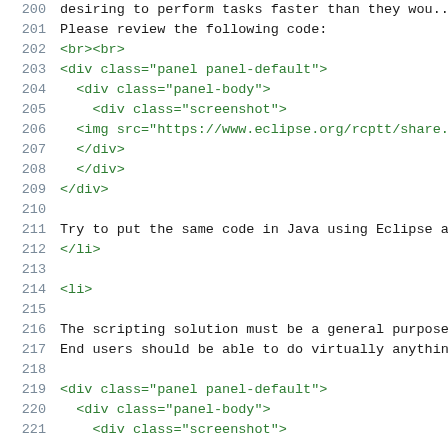[Figure (screenshot): Code editor screenshot showing HTML and text content with line numbers 200-221. Lines show HTML tags in green and plain text in dark color on white background.]